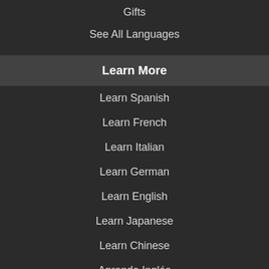Gifts
See All Languages
Learn More
Learn Spanish
Learn French
Learn Italian
Learn German
Learn English
Learn Japanese
Learn Chinese
Aprende Inglés
Learn a Language